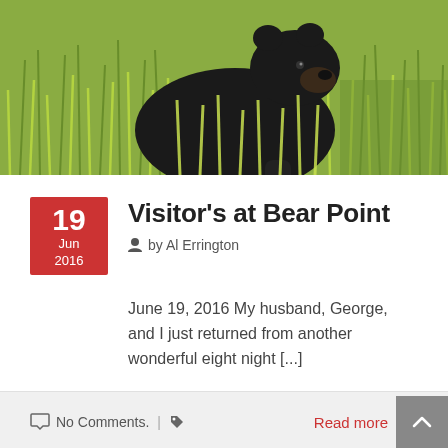[Figure (photo): A black bear standing in tall green grass, viewed from the side, looking toward the camera.]
Visitor's at Bear Point
by Al Errington
June 19, 2016 My husband, George, and I just returned from another wonderful eight night [...]
No Comments. | Read more →